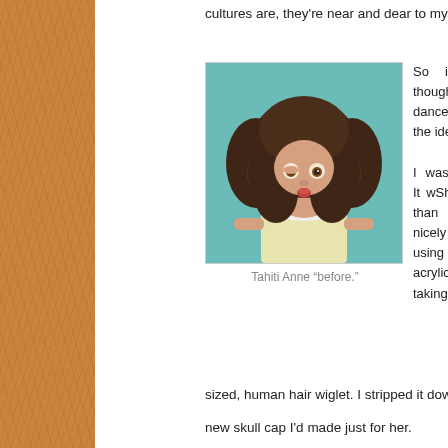cultures are, they're near and dear to my heart.
[Figure (photo): A vintage doll with curly brown hair and a yellow dress, photographed against a teal background. The doll has brown eyes and pink lips.]
Tahiti Anne “before.”
So it's odd th... never thought... doing a Tahi... dancer bef... this. Once I ... the idea, there...
I was fortuna... candidate: It w... Shirley with b... deeper than u... was cleaned. ... nicely detailed... I love using th... Luckily, this gi... acrylic replace... badly taking ...
sized, human hair wiglet. I stripped it down to the w...
new skull cap I'd made just for her.